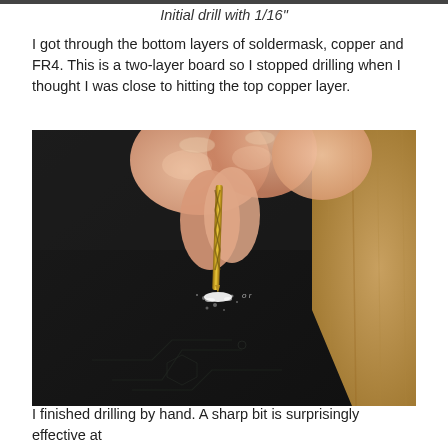Initial drill with 1/16"
I got through the bottom layers of soldermask, copper and FR4. This is a two-layer board so I stopped drilling when I thought I was close to hitting the top copper layer.
[Figure (photo): Close-up photograph of fingers holding a small drill bit (approximately 1/16 inch, gold/titanium coated twist drill) being pressed into a black PCB (printed circuit board) by hand. White debris/dust is visible around the drill point where it contacts the board surface. PCB circuit traces are faintly visible on the dark soldermask surface. The background shows a wooden surface.]
I finished drilling by hand. A sharp bit is surprisingly effective at